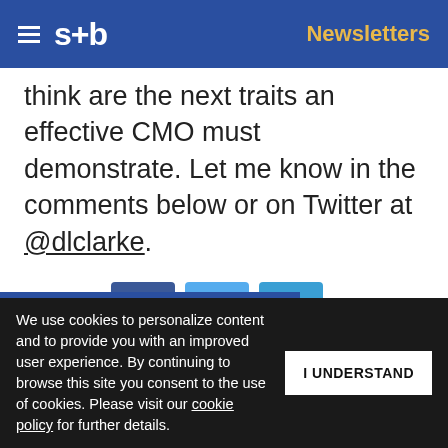s+b  Newsletters
think are the next traits an effective CMO must demonstrate. Let me know in the comments below or on Twitter at @dlclarke.
237 SHARES [Facebook] [Twitter] [LinkedIn]
Topics: digitization, marketing, technology
Get s+b's award-winning newsletter delivered to your inbox.
C US digital strategy
We use cookies to personalize content and to provide you with an improved user experience. By continuing to browse this site you consent to the use of cookies. Please visit our cookie policy for further details.